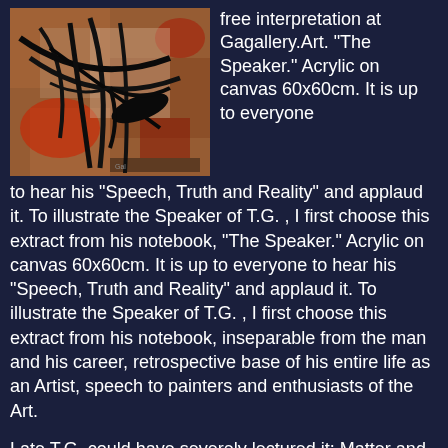[Figure (photo): Abstract painting with dark black gestural brushstrokes and lines over a textured reddish-brown background, resembling an expressive acrylic artwork.]
free interpretation at Gagallery.Art. "The Speaker." Acrylic on canvas 60x60cm. It is up to everyone to hear his "Speech, Truth and Reality" and applaud it. To illustrate the Speaker of T.G. , I first choose this extract from his notebook, "The Speaker." Acrylic on canvas 60x60cm. It is up to everyone to hear his "Speech, Truth and Reality" and applaud it. To illustrate the Speaker of T.G. , I first choose this extract from his notebook, inseparable from the man and his career, retrospective base of his entire life as an Artist, speech to painters and enthusiasts of the Art.
Late T.G. could have severely lectured it: Matter and spirit: << Of all the vainest illusions of the mind is it